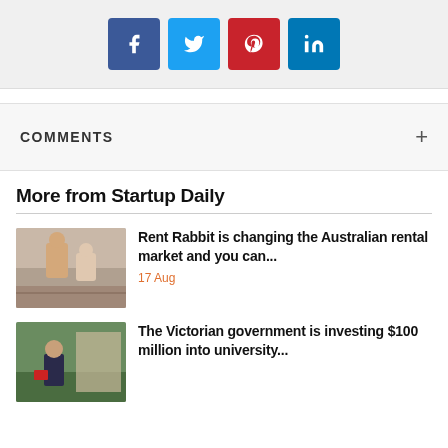[Figure (other): Social sharing buttons: Facebook (blue), Twitter (light blue), Pinterest (red), LinkedIn (blue)]
COMMENTS
More from Startup Daily
[Figure (photo): Two people near stairs, Rent Rabbit article thumbnail]
Rent Rabbit is changing the Australian rental market and you can...
17 Aug
[Figure (photo): Man in suit outdoors, Victorian government article thumbnail]
The Victorian government is investing $100 million into university...